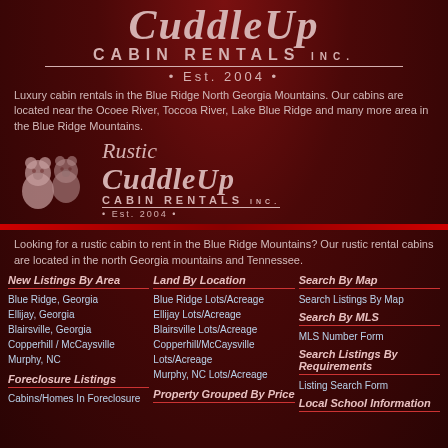[Figure (logo): CuddleUp Cabin Rentals Inc. Est. 2004 logo in cursive/serif text on dark red background]
Luxury cabin rentals in the Blue Ridge North Georgia Mountains. Our cabins are located near the Ocoee River, Toccoa River, Lake Blue Ridge and many more area in the Blue Ridge Mountains.
[Figure (logo): Rustic CuddleUp Cabin Rentals Inc. Est. 2004 logo with two bears illustration]
Looking for a rustic cabin to rent in the Blue Ridge Mountains? Our rustic rental cabins are located in the north Georgia mountains and Tennessee.
New Listings By Area
Blue Ridge, Georgia
Ellijay, Georgia
Blairsville, Georgia
Copperhill / McCaysville
Murphy, NC
Foreclosure Listings
Cabins/Homes In Foreclosure
Land By Location
Blue Ridge Lots/Acreage
Ellijay Lots/Acreage
Blairsville Lots/Acreage
Copperhill/McCaysville Lots/Acreage
Murphy, NC Lots/Acreage
Property Grouped By Price
Search By Map
Search Listings By Map
Search By MLS
MLS Number Form
Search Listings By Requirements
Listing Search Form
Local School Information